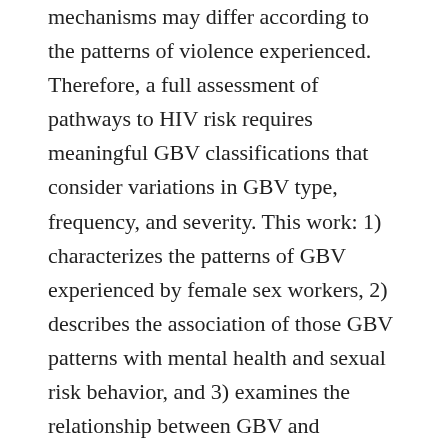mechanisms may differ according to the patterns of violence experienced. Therefore, a full assessment of pathways to HIV risk requires meaningful GBV classifications that consider variations in GBV type, frequency, and severity. This work: 1) characterizes the patterns of GBV experienced by female sex workers, 2) describes the association of those GBV patterns with mental health and sexual risk behavior, and 3) examines the relationship between GBV and adherence to pre-exposure prophylaxis (PrEP) among HIV-uninfected women in HIV serodiscordant couples. Using latent class analysis, we identified 4 GBV patterns in female sex workers, labeled Low (21% prevalence), Sexual (23%), Physical/Moderate